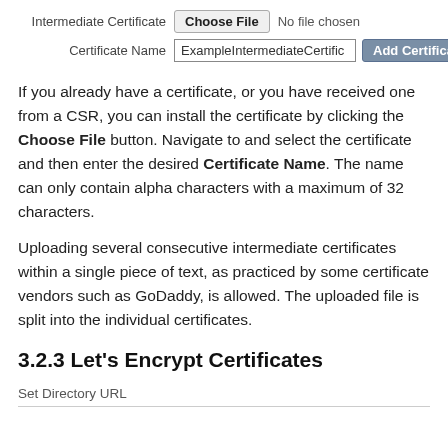[Figure (screenshot): Form row showing 'Intermediate Certificate' label with a 'Choose File' button and 'No file chosen' text]
[Figure (screenshot): Form row showing 'Certificate Name' label with a text input containing 'ExampleIntermediateCertific' and an 'Add Certificate' button]
If you already have a certificate, or you have received one from a CSR, you can install the certificate by clicking the Choose File button. Navigate to and select the certificate and then enter the desired Certificate Name. The name can only contain alpha characters with a maximum of 32 characters.
Uploading several consecutive intermediate certificates within a single piece of text, as practiced by some certificate vendors such as GoDaddy, is allowed. The uploaded file is split into the individual certificates.
3.2.3 Let's Encrypt Certificates
Set Directory URL